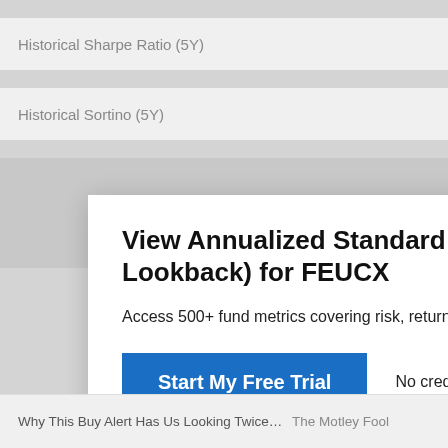Historical Sharpe Ratio (5Y)
Historical Sortino (5Y)
View Annualized Standard Deviation of Monthly Lookback) for FEUCX
Access 500+ fund metrics covering risk, returns, expos…
Start My Free Trial
No credit card required.
Already a subscriber? Sign in.
Why This Buy Alert Has Us Looking Twice… The Motley Fool